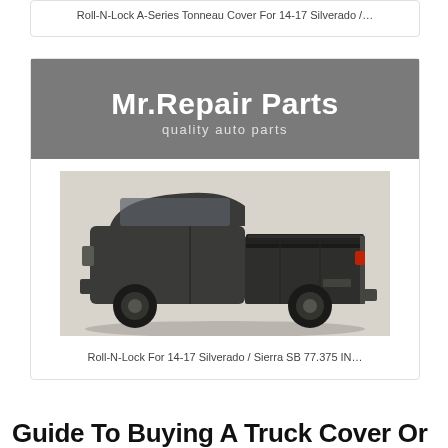Roll-N-Lock A-Series Tonneau Cover For 14-17 Silverado /...
[Figure (logo): Mr. Repair Parts logo — gray background with white bold text 'Mr.Repair Parts' and subtitle 'quality auto parts']
[Figure (photo): Photo of a dark pickup truck (GMC Sierra / Silverado) with a black Roll-N-Lock retractable tonneau cover on the bed, viewed from rear three-quarter angle]
Roll-N-Lock For 14-17 Silverado / Sierra SB 77.375 IN...
Guide To Buying A Truck Cover Or